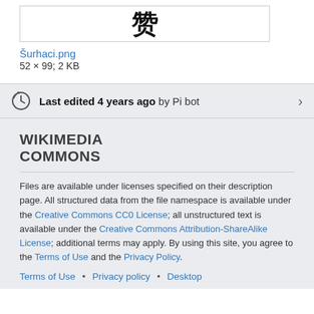[Figure (illustration): Small image box showing a stylized character resembling a number/letter glyph]
Šurhaci.png
52 × 99; 2 KB
Last edited 4 years ago by Pi bot
WIKIMEDIA COMMONS
Files are available under licenses specified on their description page. All structured data from the file namespace is available under the Creative Commons CC0 License; all unstructured text is available under the Creative Commons Attribution-ShareAlike License; additional terms may apply. By using this site, you agree to the Terms of Use and the Privacy Policy.
Terms of Use • Privacy policy • Desktop